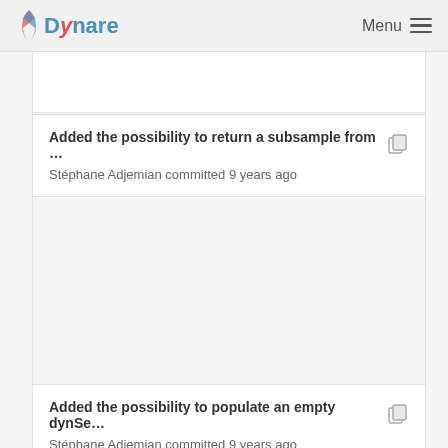Dynare  Menu
Added the possibility to return a subsample from ...
Stéphane Adjemian committed 9 years ago
Added the possibility to populate an empty dynSe...
Stéphane Adjemian committed 9 years ago